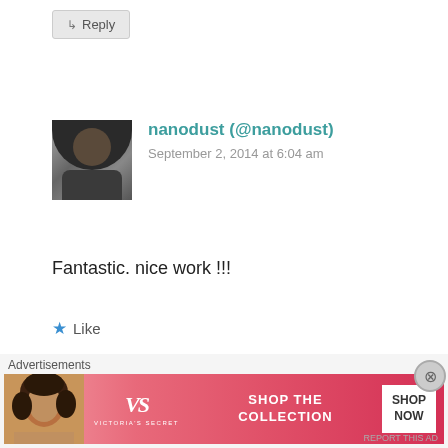[Figure (screenshot): Reply button at top of page, gray rounded button with arrow icon and text 'Reply']
[Figure (photo): User avatar photo for nanodust, showing a person with dark curly hair]
nanodust (@nanodust)
September 2, 2014 at 6:04 am
Fantastic. nice work !!!
Like
Reply
[Figure (screenshot): Partial view of another commenter's avatar at the bottom of the page]
Advertisements
[Figure (screenshot): Victoria's Secret advertisement banner with model, VS logo, text 'SHOP THE COLLECTION', and 'SHOP NOW' button]